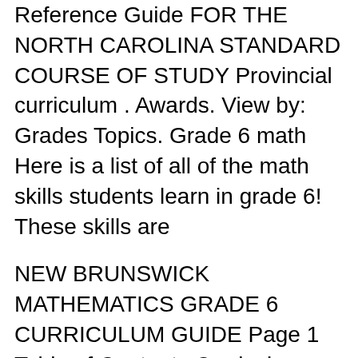Reference Guide FOR THE NORTH CAROLINA STANDARD COURSE OF STUDY Provincial curriculum . Awards. View by: Grades Topics. Grade 6 math Here is a list of all of the math skills students learn in grade 6! These skills are
NEW BRUNSWICK MATHEMATICS GRADE 6 CURRICULUM GUIDE Page 1 Table of Contents Curriculum CURRICULUM OVERVIEW FOR K – 9 MATHEMATICS Purchase this comprehensive 6th Grade curriculum package online now at Sonlight! Get the Grade 6 Science textbooks and materials you need for your 6th Grade Math.